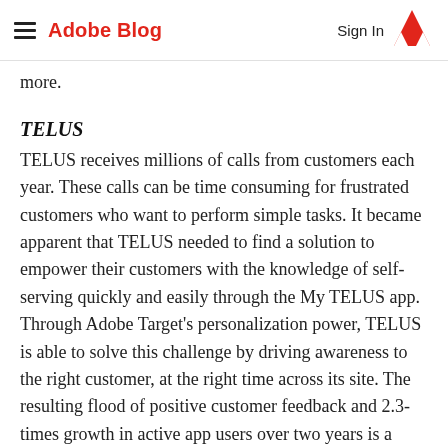Adobe Blog  Sign In
more.
TELUS
TELUS receives millions of calls from customers each year. These calls can be time consuming for frustrated customers who want to perform simple tasks. It became apparent that TELUS needed to find a solution to empower their customers with the knowledge of self-serving quickly and easily through the My TELUS app. Through Adobe Target's personalization power, TELUS is able to solve this challenge by driving awareness to the right customer, at the right time across its site. The resulting flood of positive customer feedback and 2.3-times growth in active app users over two years is a